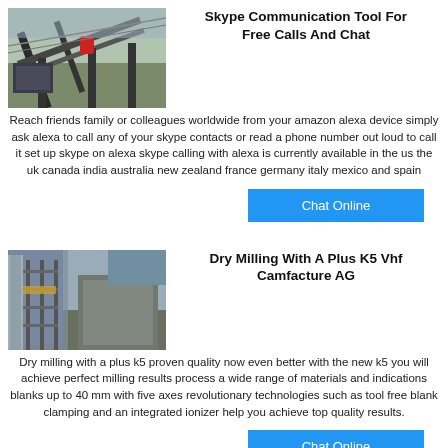[Figure (photo): Industrial conveyor belt / mining equipment machinery photo]
Skype Communication Tool For Free Calls And Chat
Reach friends family or colleagues worldwide from your amazon alexa device simply ask alexa to call any of your skype contacts or read a phone number out loud to call it set up skype on alexa skype calling with alexa is currently available in the us the uk canada india australia new zealand france germany italy mexico and spain
Chat Online
[Figure (photo): Industrial scaffolding / construction site or mining facility photo]
Dry Milling With A Plus K5 Vhf Camfacture AG
Dry milling with a plus k5 proven quality now even better with the new k5 you will achieve perfect milling results process a wide range of materials and indications blanks up to 40 mm with five axes revolutionary technologies such as tool free blank clamping and an integrated ionizer help you achieve top quality results.
Chat Online